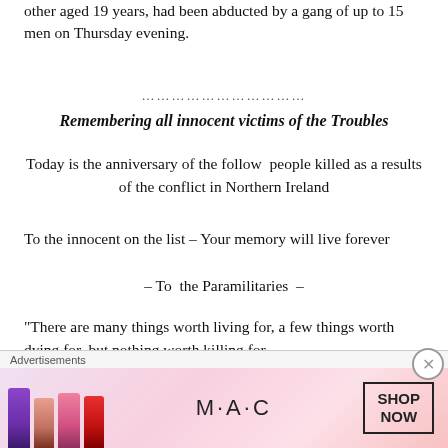other aged 19 years, had been abducted by a gang of up to 15 men on Thursday evening.
………………………
Remembering all innocent victims of the Troubles
Today is the anniversary of the follow  people killed as a results of the conflict in Northern Ireland
To the innocent on the list – Your memory will live forever
– To  the Paramilitaries  –
“There are many things worth living for, a few things worth dying for, but nothing worth killing for.
[Figure (advertisement): M·A·C cosmetics advertisement showing lipsticks in purple, peach, pink and red, with MAC logo and SHOP NOW button]